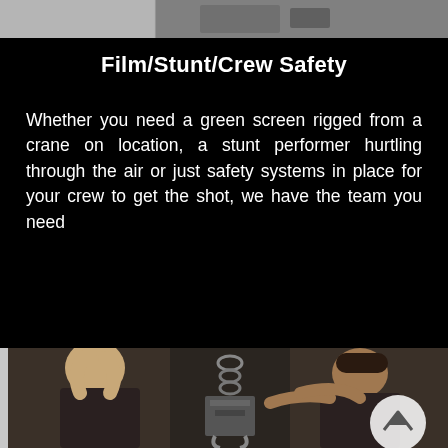[Figure (photo): Top strip showing partial aerial/rigging equipment photo with gray tones]
Film/Stunt/Crew Safety
Whether you need a green screen rigged from a crane on location, a stunt performer hurtling through the air or just safety systems in place for your crew to get the shot, we have the team you need
[Figure (photo): Two workers in dark t-shirts working with chain hoist rigging equipment in an industrial setting, with a company logo watermark visible]